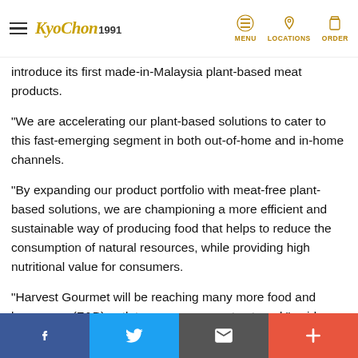KyoChon 1991 — MENU | LOCATIONS | ORDER
introduce its first made-in-Malaysia plant-based meat products.
“We are accelerating our plant-based solutions to cater to this fast-emerging segment in both out-of-home and in-home channels.
“By expanding our product portfolio with meat-free plant-based solutions, we are championing a more efficient and sustainable way of producing food that helps to reduce the consumption of natural resources, while providing high nutritional value for consumers.
“Harvest Gourmet will be reaching many more food and beverages (F&B) outlets very soon, so stay tuned,” said Aranols.
Social share bar: Facebook, Twitter, Share, +